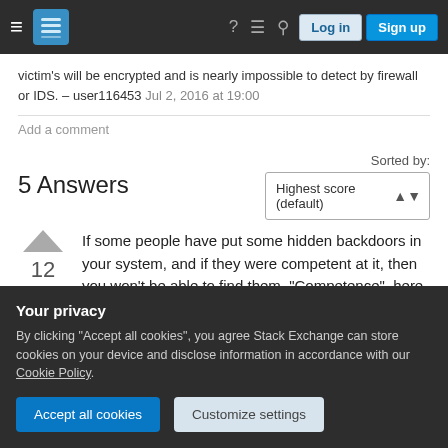Stack Exchange navigation bar with Log in and Sign up buttons
victim's will be encrypted and is nearly impossible to detect by firewall or IDS. – user116453 Jul 2, 2016 at 19:00
Add a comment
5 Answers
Sorted by: Highest score (default)
If some people have put some hidden backdoors in your system, and if they were competent at it, then you won't be able to find them. "Competence", here,
12
Your privacy
By clicking "Accept all cookies", you agree Stack Exchange can store cookies on your device and disclose information in accordance with our Cookie Policy.